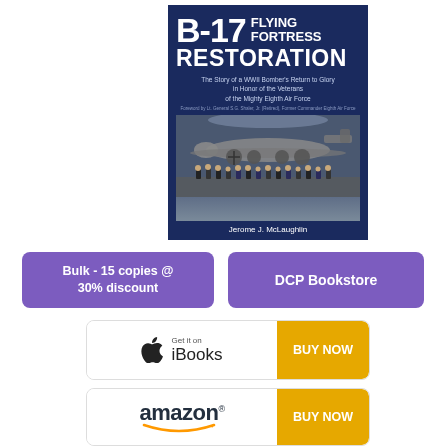[Figure (illustration): Book cover for 'B-17 Flying Fortress Restoration: The Story of a WWII Bomber's Return to Glory in Honor of the Veterans of the Mighty Eighth Air Force' by Jerome J. McLaughlin. Dark navy blue cover with bold white title text and a photograph of a group of people standing in front of the B-17 aircraft in a hangar.]
Bulk - 15 copies @ 30% discount
DCP Bookstore
[Figure (logo): iBooks button with Apple logo, 'Get it on iBooks' text, and a yellow 'BUY NOW' button on the right]
[Figure (logo): Amazon button with Amazon logo and smile, and a yellow 'BUY NOW' button on the right]